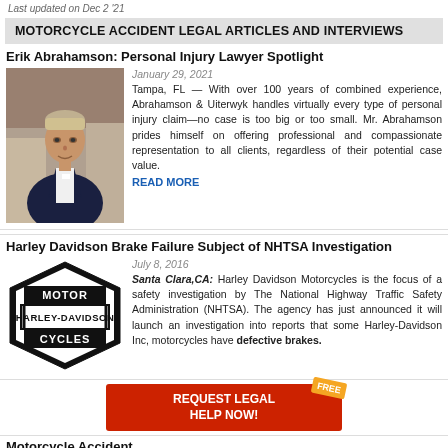Last updated on Dec 2 '21
MOTORCYCLE ACCIDENT LEGAL ARTICLES AND INTERVIEWS
Erik Abrahamson: Personal Injury Lawyer Spotlight
[Figure (photo): Portrait photo of Erik Abrahamson, a man in a dark navy suit standing outdoors]
January 29, 2021
Tampa, FL — With over 100 years of combined experience, Abrahamson & Uiterwyk handles virtually every type of personal injury claim—no case is too big or too small. Mr. Abrahamson prides himself on offering professional and compassionate representation to all clients, regardless of their potential case value. READ MORE
Harley Davidson Brake Failure Subject of NHTSA Investigation
[Figure (logo): Harley-Davidson Motor Cycles logo badge in black and white]
July 8, 2016
Santa Clara, CA: Harley Davidson Motorcycles is the focus of a safety investigation by The National Highway Traffic Safety Administration (NHTSA). The agency has just announced it will launch an investigation into reports that some Harley-Davidson Inc, motorcycles have defective brakes.
[Figure (infographic): Red call-to-action button reading REQUEST LEGAL HELP NOW! with a FREE badge]
Motorcycle Accident ...